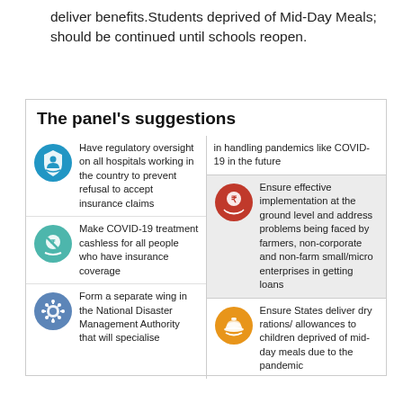deliver benefits.Students deprived of Mid-Day Meals; should be continued until schools reopen.
The panel's suggestions
[Figure (infographic): Infographic showing panel suggestions with icons: regulatory oversight on hospitals and insurance claims (blue shield icon), COVID-19 cashless treatment (teal crossed icon), National Disaster Management Authority separate wing (blue virus icon), handling pandemics like COVID-19 in future (text only), effective implementation for farmers and small enterprises in getting loans (red rupee icon, shaded background), ensuring States deliver dry rations/allowances to children deprived of mid-day meals (orange food icon)]